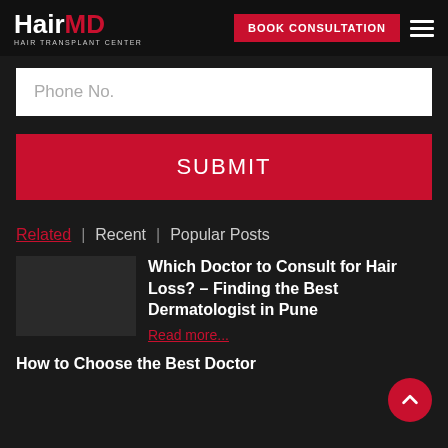HairMD HAIR TRANSPLANT CENTER
[Figure (screenshot): Phone No. input field (white background, gray placeholder text)]
[Figure (screenshot): Red SUBMIT button]
Related | Recent | Popular Posts
Which Doctor to Consult for Hair Loss? – Finding the Best Dermatologist in Pune
Read more...
How to Choose the Best Doctor